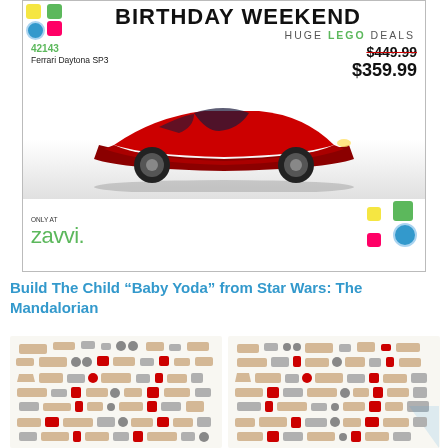[Figure (infographic): Zavvi Birthday Weekend Huge LEGO Deals advertisement banner featuring LEGO Technic 42143 Ferrari Daytona SP3 with original price $449.99 struck through and sale price $359.99, LEGO brick decorations, red Ferrari Daytona SP3 model photo, 'Only at Zavvi' branding]
Build The Child “Baby Yoda” from Star Wars: The Mandalorian
[Figure (photo): Left image: Scattered LEGO pieces/parts laid out on white background, showing various tan, grey, red and white LEGO brick pieces for building Baby Yoda]
[Figure (photo): Right image: Scattered LEGO pieces/parts on white background, similar assortment of tan, grey, red and white pieces for Baby Yoda build, with a faint watermark]